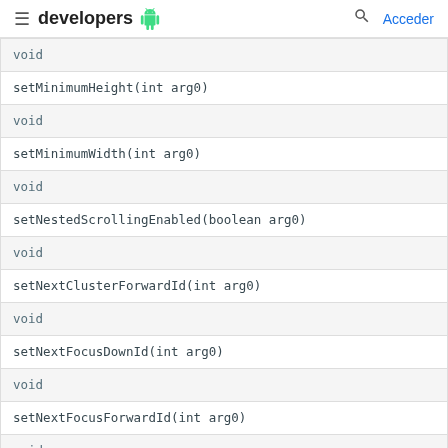developers  [android logo]  [search]  Acceder
| void |
| setMinimumHeight(int arg0) |
| void |
| setMinimumWidth(int arg0) |
| void |
| setNestedScrollingEnabled(boolean arg0) |
| void |
| setNextClusterForwardId(int arg0) |
| void |
| setNextFocusDownId(int arg0) |
| void |
| setNextFocusForwardId(int arg0) |
| void |
| setNextFocusLeftId(int arg0) |